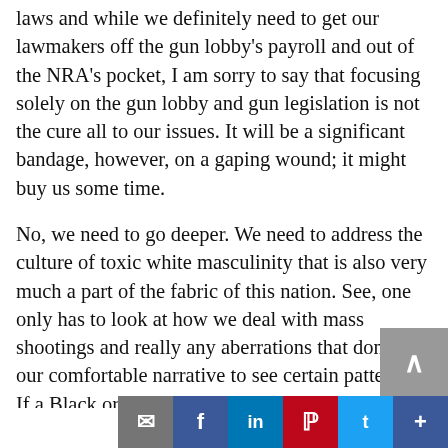laws and while we definitely need to get our lawmakers off the gun lobby's payroll and out of the NRA's pocket, I am sorry to say that focusing solely on the gun lobby and gun legislation is not the cure all to our issues. It will be a significant bandage, however, on a gaping wound; it might buy us some time.
No, we need to go deeper. We need to address the culture of toxic white masculinity that is also very much a part of the fabric of this nation. See, one only has to look at how we deal with mass shootings and really any aberrations that don't fit our comfortable narrative to see certain patterns. If a Black or brown person commits a heinous crime, it is an indictment on an entire community. If you think I am kidd